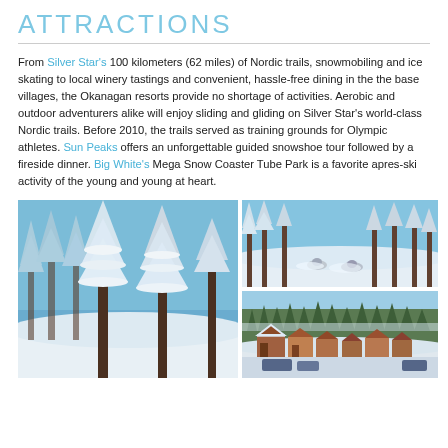ATTRACTIONS
From Silver Star's 100 kilometers (62 miles) of Nordic trails, snowmobiling and ice skating to local winery tastings and convenient, hassle-free dining in the the base villages, the Okanagan resorts provide no shortage of activities. Aerobic and outdoor adventurers alike will enjoy sliding and gliding on Silver Star's world-class Nordic trails. Before 2010, the trails served as training grounds for Olympic athletes. Sun Peaks offers an unforgettable guided snowshoe tour followed by a fireside dinner. Big White's Mega Snow Coaster Tube Park is a favorite apres-ski activity of the young and young at heart.
[Figure (photo): Snow-covered pine trees against a blue sky]
[Figure (photo): Snowmobilers riding through deep snow among snow-covered trees]
[Figure (photo): Mountain village resort buildings with snow-covered trees in background]